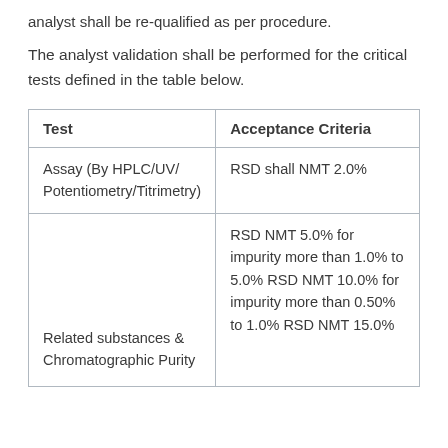analyst shall be re-qualified as per procedure.
The analyst validation shall be performed for the critical tests defined in the table below.
| Test | Acceptance Criteria |
| --- | --- |
| Assay (By HPLC/UV/ Potentiometry/Titrimetry) | RSD shall NMT 2.0% |
| Related substances & Chromatographic Purity | RSD NMT 5.0% for impurity more than 1.0% to 5.0% RSD NMT 10.0% for impurity more than 0.50% to 1.0% RSD NMT 15.0% |